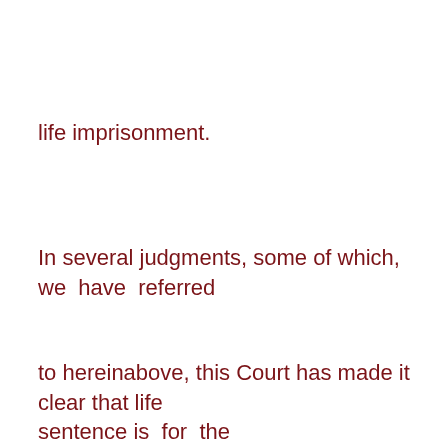life imprisonment.
In several judgments, some of which,  we  have  referred
to hereinabove, this Court has made it clear that life sentence is  for  the
whole of remaining life subject to the remission granted by the  appropriate